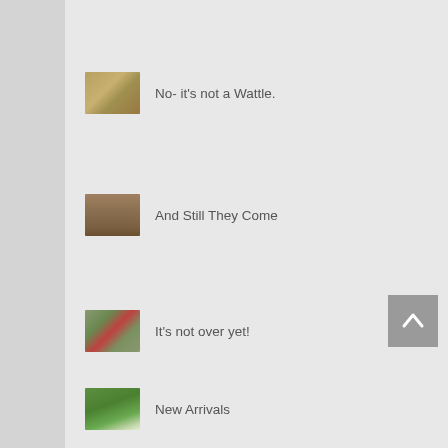[Figure (photo): Thumbnail image of a shrub/bush, yellowish-brown tones]
No- it's not a Wattle.
[Figure (photo): Thumbnail image of wooden fence/planks, brown tones]
And Still They Come
[Figure (photo): Thumbnail image of poppies in a field, red flower visible]
It's not over yet!
[Figure (photo): Thumbnail image of a bird on green grass]
New Arrivals